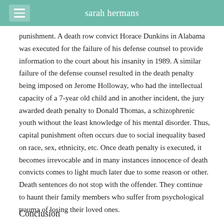sarah hermans
punishment. A death row convict Horace Dunkins in Alabama was executed for the failure of his defense counsel to provide information to the court about his insanity in 1989. A similar failure of the defense counsel resulted in the death penalty being imposed on Jerome Holloway, who had the intellectual capacity of a 7-year old child and in another incident, the jury awarded death penalty to Donald Thomas, a schizophrenic youth without the least knowledge of his mental disorder. Thus, capital punishment often occurs due to social inequality based on race, sex, ethnicity, etc. Once death penalty is executed, it becomes irrevocable and in many instances innocence of death convicts comes to light much later due to some reason or other. Death sentences do not stop with the offender. They continue to haunt their family members who suffer from psychological trauma of losing their loved ones.
Conclusion